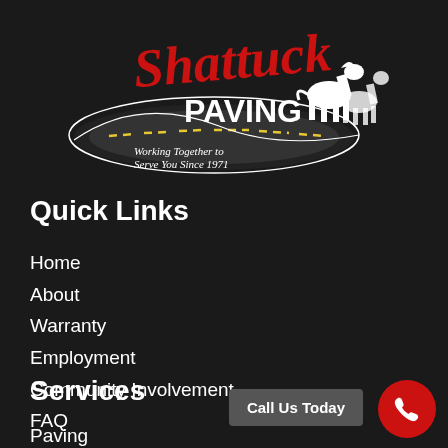[Figure (logo): Shattuck Paving logo with red script 'Shattuck', white bold 'PAVING', a road graphic with yellow dashed lines, and silhouette of horses. Tagline: 'Working Together to Serve You Since 1971']
Quick Links
Home
About
Warranty
Employment
Community Involvement
FAQ
Services
Paving
Call Us Today